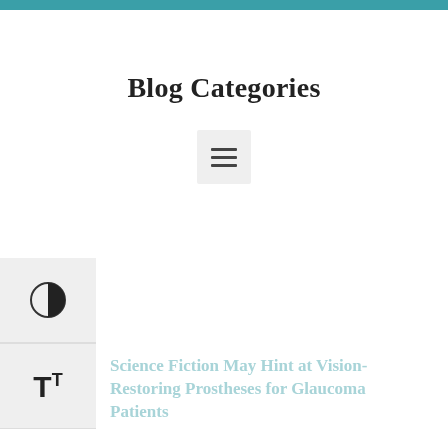Blog Categories
[Figure (other): Hamburger menu button icon with three horizontal lines on a light grey background]
[Figure (other): Left sidebar accessibility buttons: contrast toggle (half-circle icon) and text size toggle (TT icon)]
Science Fiction May Hint at Vision-Restoring Prostheses for Glaucoma Patients
Researchers are developing and validating new technologies that could